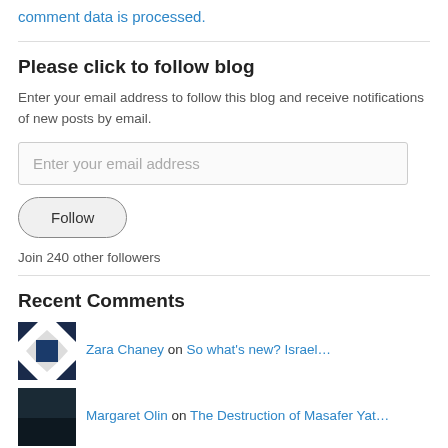comment data is processed.
Please click to follow blog
Enter your email address to follow this blog and receive notifications of new posts by email.
Enter your email address
Follow
Join 240 other followers
Recent Comments
Zara Chaney on So what's new? Israel…
Margaret Olin on The Destruction of Masafer Yat…